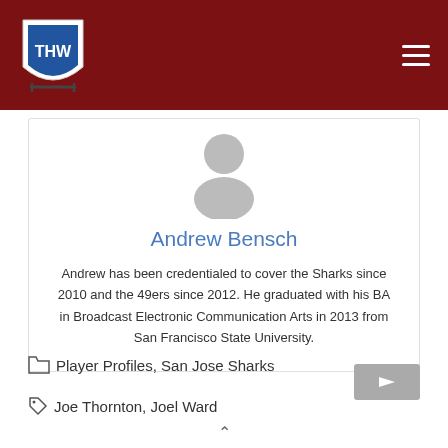[Figure (logo): THW hockey logo shield on dark red navigation bar]
[Figure (photo): Default grey user avatar silhouette placeholder image]
Andrew Bensch
Andrew has been credentialed to cover the Sharks since 2010 and the 49ers since 2012. He graduated with his BA in Broadcast Electronic Communication Arts in 2013 from San Francisco State University.
Player Profiles, San Jose Sharks
Joe Thornton, Joel Ward